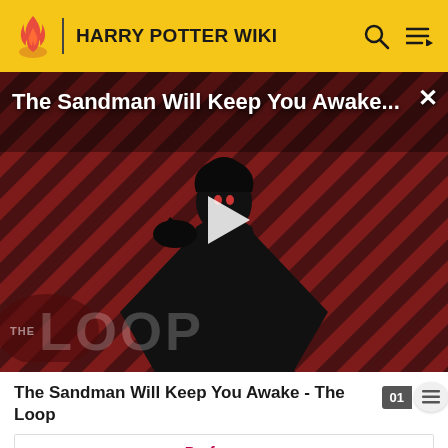HARRY POTTER WIKI
[Figure (screenshot): Video thumbnail for 'The Sandman Will Keep You Awake...' showing a dark figure in black cloak against red diagonal striped background with 'THE LOOP' watermark and a white play button triangle in the center. A close/X button in top right.]
The Sandman Will Keep You Awake - The Loop
Professors
Arsenius Jigger • Albus Dumbledore • Galatea Merrythought • 19th century professor • 1984-1985 professor • 1985-1986